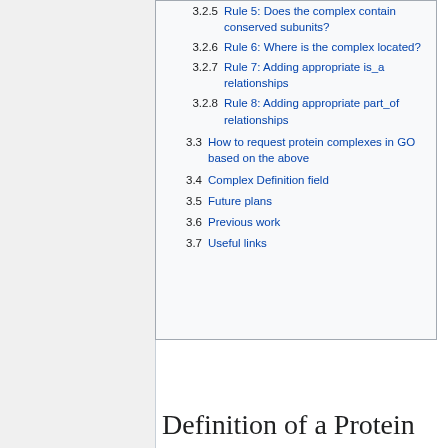3.2.5 Rule 5: Does the complex contain conserved subunits?
3.2.6 Rule 6: Where is the complex located?
3.2.7 Rule 7: Adding appropriate is_a relationships
3.2.8 Rule 8: Adding appropriate part_of relationships
3.3 How to request protein complexes in GO based on the above
3.4 Complex Definition field
3.5 Future plans
3.6 Previous work
3.7 Useful links
Definition of a Protein